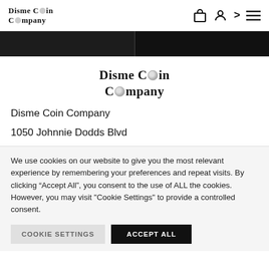Disme Coin Company — navigation header with logo, cart, account, and menu icons
[Figure (other): Dark two-panel banner strip below the navigation bar]
[Figure (logo): Disme Coin Company logo centered, large serif font with coin-style stylized O letters]
Disme Coin Company
1050 Johnnie Dodds Blvd
We use cookies on our website to give you the most relevant experience by remembering your preferences and repeat visits. By clicking “Accept All”, you consent to the use of ALL the cookies. However, you may visit "Cookie Settings" to provide a controlled consent.
COOKIE SETTINGS   ACCEPT ALL